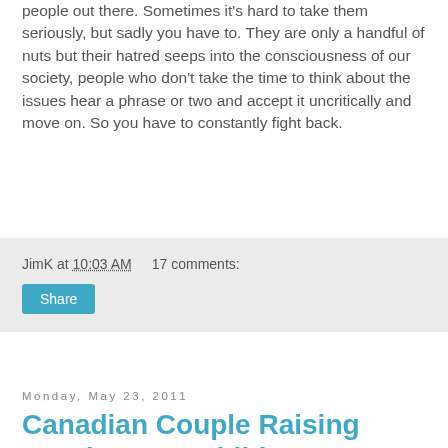people out there. Sometimes it's hard to take them seriously, but sadly you have to. They are only a handful of nuts but their hatred seeps into the consciousness of our society, people who don't take the time to think about the issues hear a phrase or two and accept it uncritically and move on. So you have to constantly fight back.
JimK at 10:03 AM   17 comments:  Share
Monday, May 23, 2011
Canadian Couple Raising Gender-Free Child
It's funny, I don't think I have ever heard of anyone doing this. A Canadian couple had a baby and decided to keep its sex a secret. When this reporter visits, the baby is dressed in red. Why would it matter if a tiny person is male or female? The situation is unsettling in a way that makes you think.